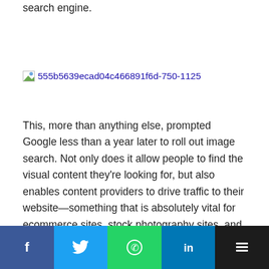...Grammy's literally overloaded the then-fledgling Google search engine.
[Figure (photo): Image placeholder with filename: 555b5639ecad04c466891f6d-750-1125]
This, more than anything else, prompted Google less than a year later to roll out image search. Not only does it allow people to find the visual content they're looking for, but also enables content providers to drive traffic to their website—something that is absolutely vital for ecommerce sites, stock photography sites, and everyone else who depends on images to bring people to their sites.
Visual missteps
[Figure (infographic): Social media share bar with Facebook, Twitter, WhatsApp, LinkedIn, and Buffer buttons]